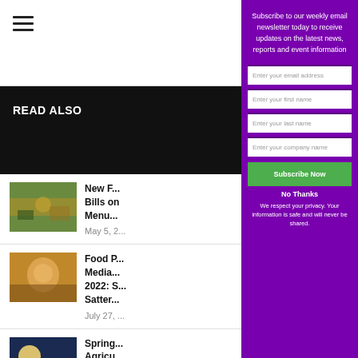[Figure (screenshot): Hamburger menu icon (three horizontal lines)]
[Figure (screenshot): Black bar background at top of left panel]
READ ALSO
[Figure (photo): Photo of food/produce items]
New F... Bills on Menu.
May 5, 2...
[Figure (photo): Photo of a man in orange shirt]
Food P... Media... 2022: S... Satter...
July 27, ...
[Figure (photo): Photo of tractor in field at sunrise/sunset]
Spring... Agricu... News
April 21...
Subscribe to our weekly email newsletter today to receive updates on the latest news, reports and event information
[Figure (screenshot): Email input field: Enter your email address]
[Figure (screenshot): First name input field: Enter your first name]
[Figure (screenshot): Last name input field: Enter your last name]
[Figure (screenshot): Company name input field: Enter your company name]
Subscribe Now
No Thanks
We respect your privacy. Your information is safe and will never be shared.